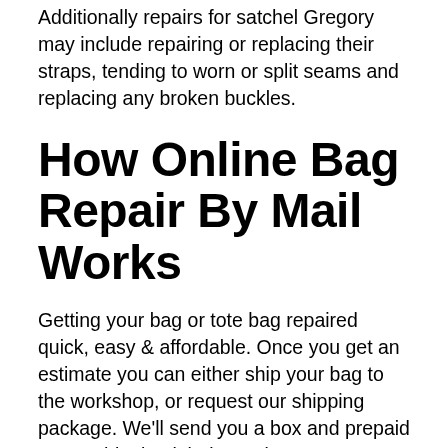Additionally repairs for satchel Gregory may include repairing or replacing their straps, tending to worn or split seams and replacing any broken buckles.
How Online Bag Repair By Mail Works
Getting your bag or tote bag repaired quick, easy & affordable. Once you get an estimate you can either ship your bag to the workshop, or request our shipping package. We'll send you a box and prepaid return shipping label. It arrives on your doorstep in just a few days. You can pack your bag up, apply our prepaid shipping label and send